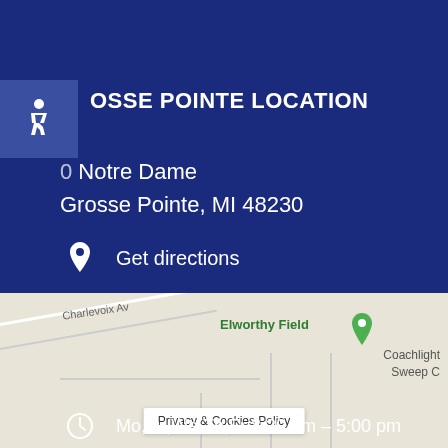GROSSE POINTE LOCATION
Notre Dame
Grosse Pointe, MI 48230
Get directions
(313) 881-5322
general@aitken-ormond.com
Mo,Tu,We,Th,Fr 8:30 am – 5:00 pm
[Figure (map): Google Maps screenshot showing Grosse Pointe area with Elworthy Field marker, Charlevoix Ave road, and Coachlight / Sweep labels visible]